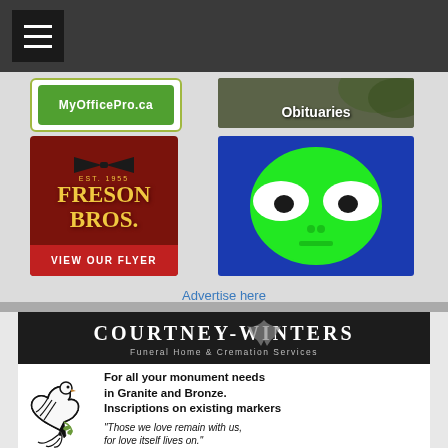≡
[Figure (logo): MyOfficePro.ca green banner advertisement]
[Figure (photo): Obituaries section link with nature photo background]
[Figure (logo): Freson Bros. grocery store advertisement with VIEW OUR FLYER button]
[Figure (illustration): Green alien head on blue background]
Advertise here
[Figure (logo): Courtney Winters Funeral Home & Cremation Services advertisement with dove illustration. Text: For all your monument needs in Granite and Bronze. Inscriptions on existing markers. "Those we love remain with us, for love itself lives on."]